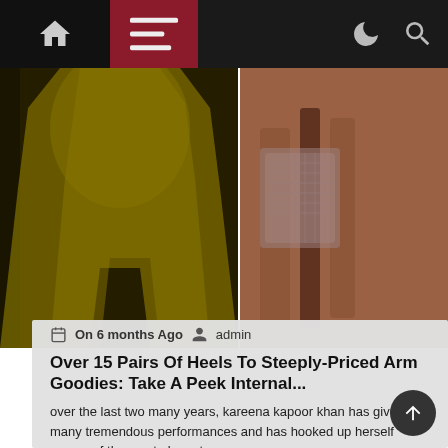Navigation bar with home, menu, dark mode toggle, and search icons
[Figure (photo): Two-panel hero image: left panel shows a woman in a yellow/mustard long dress; right panel shows a close-up of nude strappy high-heel sandals with crystal embellishments]
On 6 months Ago  admin
Over 15 Pairs Of Heels To Steeply-Priced Arm Goodies: Take A Peek Internal...
over the last two many years, kareena kapoor khan has given many tremendous performances and has hooked up herself as one of the most elegant